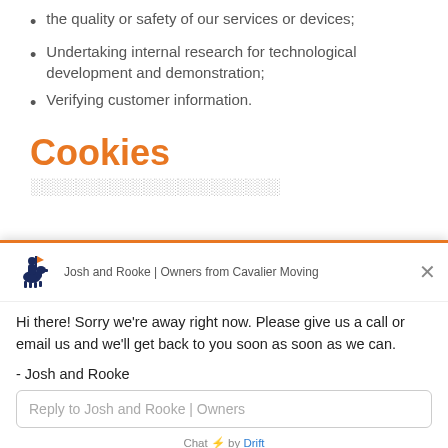the quality or safety of our services or devices;
Undertaking internal research for technological development and demonstration;
Verifying customer information.
Cookies
(partial/obscured text)
[Figure (screenshot): Chat widget overlay from Drift showing Josh and Rooke, Owners from Cavalier Moving, with an away message and reply input field.]